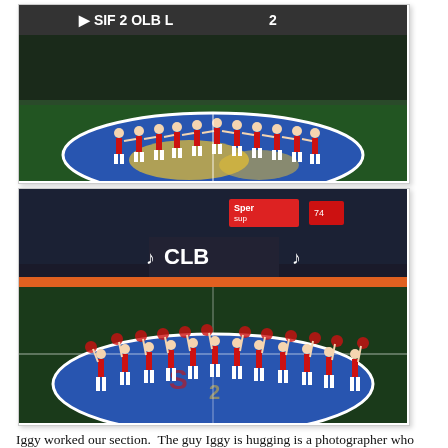[Figure (photo): Cheerleaders in red uniforms standing in a line on a blue basketball court center circle with an arena background. Daytime or indoor lighting.]
[Figure (photo): Cheerleaders in red uniforms performing on a blue basketball court center circle, with arena crowd and GLB sponsor signage visible in the background.]
Iggy worked our section.  The guy Iggy is hugging is a photographer who always sits a couple rows in front of us.